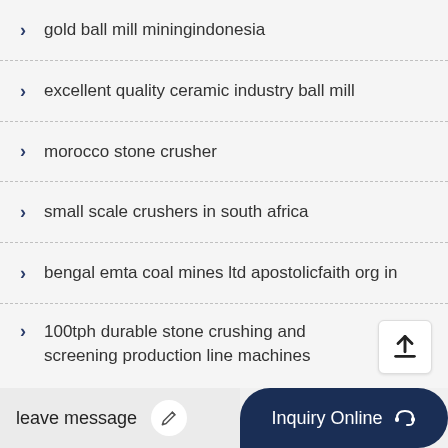gold ball mill miningindonesia
excellent quality ceramic industry ball mill
morocco stone crusher
small scale crushers in south africa
bengal emta coal mines ltd apostolicfaith org in
100tph durable stone crushing and screening production line machines
2018 large capacity mobi…
leave message
Inquiry Online